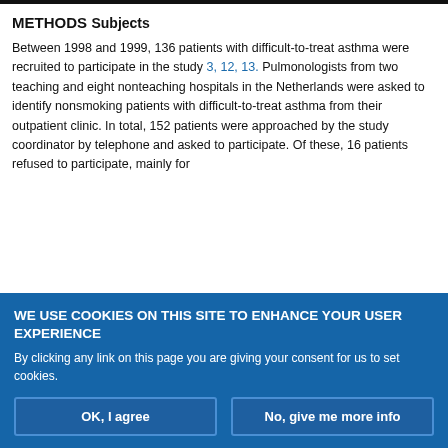METHODS
Subjects
Between 1998 and 1999, 136 patients with difficult-to-treat asthma were recruited to participate in the study 3, 12, 13. Pulmonologists from two teaching and eight nonteaching hospitals in the Netherlands were asked to identify nonsmoking patients with difficult-to-treat asthma from their outpatient clinic. In total, 152 patients were approached by the study coordinator by telephone and asked to participate. Of these, 16 patients refused to participate, mainly for
WE USE COOKIES ON THIS SITE TO ENHANCE YOUR USER EXPERIENCE
By clicking any link on this page you are giving your consent for us to set cookies.